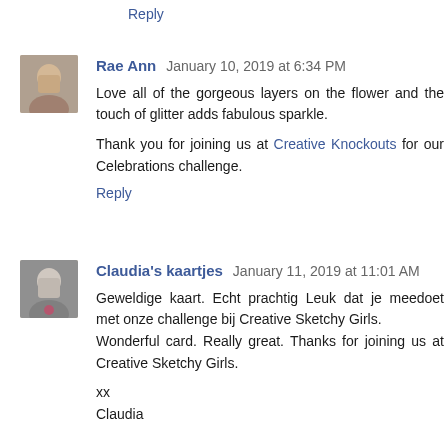Reply
Rae Ann  January 10, 2019 at 6:34 PM
Love all of the gorgeous layers on the flower and the touch of glitter adds fabulous sparkle.

Thank you for joining us at Creative Knockouts for our Celebrations challenge.
Reply
Claudia's kaartjes  January 11, 2019 at 11:01 AM
Geweldige kaart. Echt prachtig Leuk dat je meedoet met onze challenge bij Creative Sketchy Girls.
Wonderful card. Really great. Thanks for joining us at Creative Sketchy Girls.

xx
Claudia